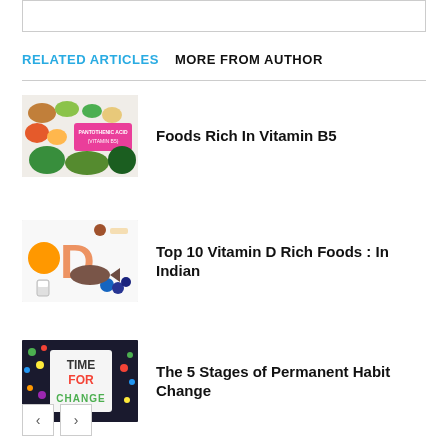RELATED ARTICLES   MORE FROM AUTHOR
[Figure (photo): Foods rich in Vitamin B5 / Pantothenic Acid — mushrooms, chicken, broccoli, avocado, carrots and other foods with label text 'Pantothenic Acid (Vitamin B5)']
Foods Rich In Vitamin B5
[Figure (photo): Vitamin D rich foods — orange, fish, milk, berries and a large letter D made of foods on white background]
Top 10 Vitamin D Rich Foods : In Indian
[Figure (photo): Lightbox sign reading TIME FOR CHANGE in colorful letters on dark background]
The 5 Stages of Permanent Habit Change